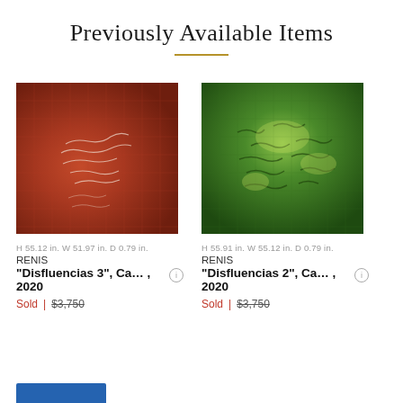Previously Available Items
[Figure (illustration): Red/terracotta abstract painting - Disfluencias 3 by RENIS, 2020]
H 55.12 in. W 51.97 in. D 0.79 in.
RENIS
"Disfluencias 3", Ca... , 2020
Sold | $3,750
[Figure (illustration): Green abstract painting - Disfluencias 2 by RENIS, 2020]
H 55.91 in. W 55.12 in. D 0.79 in.
RENIS
"Disfluencias 2", Ca... , 2020
Sold | $3,750